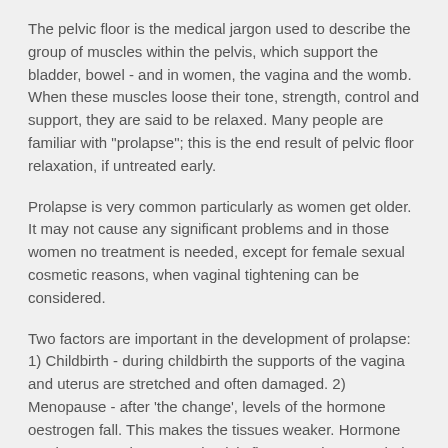The pelvic floor is the medical jargon used to describe the group of muscles within the pelvis, which support the bladder, bowel - and in women, the vagina and the womb. When these muscles loose their tone, strength, control and support, they are said to be relaxed. Many people are familiar with "prolapse"; this is the end result of pelvic floor relaxation, if untreated early.
Prolapse is very common particularly as women get older. It may not cause any significant problems and in those women no treatment is needed, except for female sexual cosmetic reasons, when vaginal tightening can be considered.
Two factors are important in the development of prolapse: 1) Childbirth - during childbirth the supports of the vagina and uterus are stretched and often damaged. 2) Menopause - after 'the change', levels of the hormone oestrogen fall. This makes the tissues weaker. Hormone Replacement Therapy and pelvic floor exercises may help prevent prolapse.